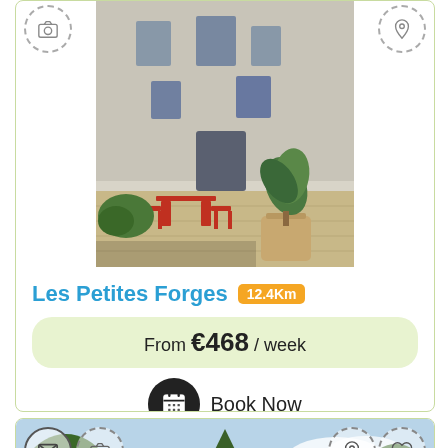[Figure (photo): Photo of a French property courtyard with outdoor furniture, potted tree, stone paving, and building facade]
Les Petites Forges 12.4Km
From €468 / week
Book Now
[Figure (photo): Photo of a property with tall conifer trees, green foliage, blue sky, and rooftops visible]